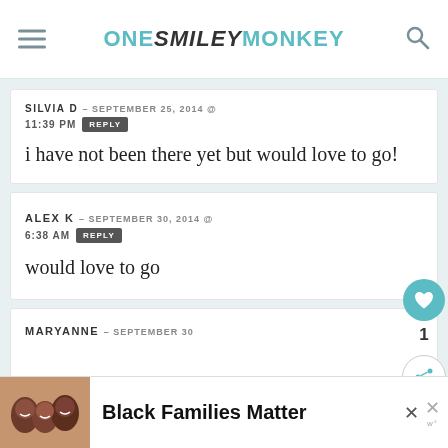ONE SMILEY MONKEY
SILVIA D — SEPTEMBER 25, 2014 @ 11:39 PM REPLY
i have not been there yet but would love to go!
ALEX K — SEPTEMBER 30, 2014 @ 6:38 AM REPLY
would love to go
MARYANNE — SEPTEMBER 30
[Figure (infographic): Ad banner with photo of smiling Black family and text 'Black Families Matter']